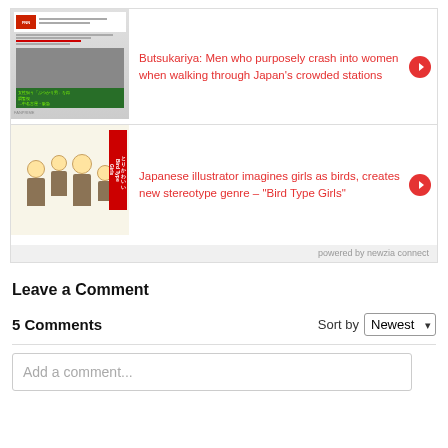[Figure (screenshot): Thumbnail of a Fuji News Network tweet about butsukariya men]
Butsukariya: Men who purposely crash into women when walking through Japan's crowded stations
[Figure (illustration): Manga-style illustration of girls as birds - Bird Type Girls]
Japanese illustrator imagines girls as birds, creates new stereotype genre – "Bird Type Girls"
powered by newzia connect
Leave a Comment
5 Comments
Sort by Newest
Add a comment...